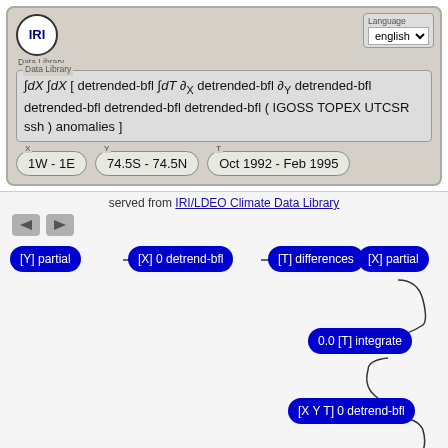[Figure (screenshot): IRI Data Library web interface showing a query expression with coordinate selectors]
∫dX ∫dX [ detrended-bfl ∫dT ∂X detrended-bfl ∂Y detrended-bfl detrended-bfl detrended-bfl detrended-bfl ( IGOSS TOPEX UTCSR ssh ) anomalies ]
1W - 1E
74.5S - 74.5N
Oct 1992 - Feb 1995
served from IRI/LDEO Climate Data Library
[Figure (flowchart): Flowchart of data processing steps: [Y] partial → [X] 0 detrend-bfl → [T] differences → [X] partial → 0.0 [T] integrate → [X Y T] 0 detrend-bfl → yearly-anomalies → [X] differences]